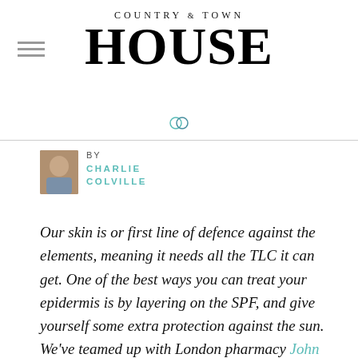COUNTRY & TOWN HOUSE
[Figure (logo): Country & Town House magazine logo with serif font]
BY CHARLIE COLVILLE
Our skin is or first line of defence against the elements, meaning it needs all the TLC it can get. One of the best ways you can treat your epidermis is by layering on the SPF, and give yourself some extra protection against the sun. We've teamed up with London pharmacy John Bell & Croyden to find out just what we should be considering when shopping for SPF products, and which ones we